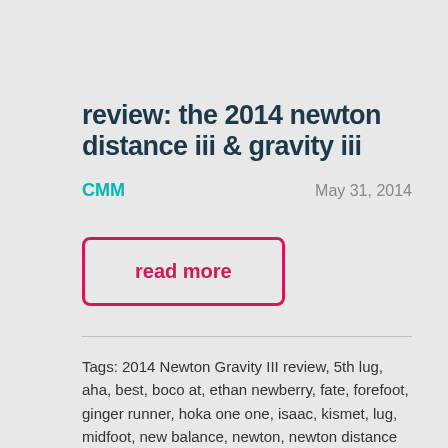review: the 2014 newton distance iii & gravity iii
CMM    May 31, 2014
read more
Tags: 2014 Newton Gravity III review, 5th lug, aha, best, boco at, ethan newberry, fate, forefoot, ginger runner, hoka one one, isaac, kismet, lug, midfoot, new balance, newton, newton distance III review, newton